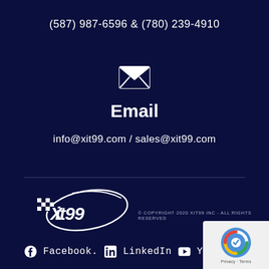(587) 987-6596 & (780) 239-4910
[Figure (illustration): White envelope icon]
Email
info@xit99.com / sales@xit99.com
[Figure (logo): XIT99 logo with checkered flag and swoosh]
© COPYRIGHT 2020 XIT99 INC - ALL RIGHTS RESERVED
Facebook.  LinkedIn  Youtube.